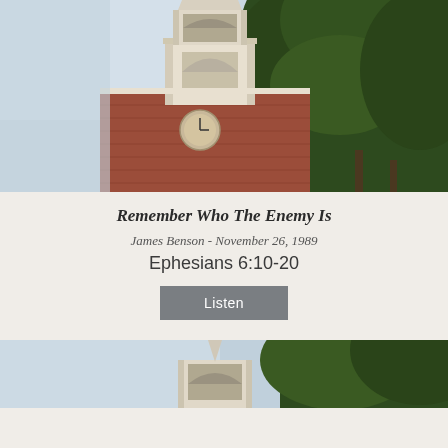[Figure (photo): Photograph of a red-brick church steeple with white ornate tower and spire against a light blue sky, with large green trees framing the right side. Taken from a low angle looking upward.]
Remember Who The Enemy Is
James Benson - November 26, 1989
Ephesians 6:10-20
Listen
[Figure (photo): Partial photograph of the same red-brick church steeple with white ornate tower, trees visible, cropped at bottom of page.]